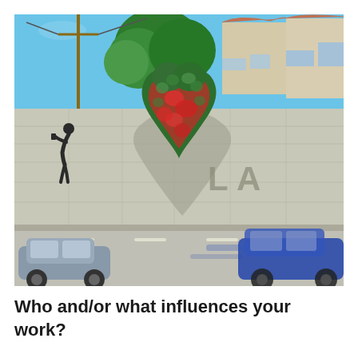[Figure (photo): Street art photograph showing a heart-shaped plant/floral installation on a concrete freeway wall, with shadow spelling 'LA'. A silhouette figure stands to the left, and cars pass in the foreground. Buildings and trees visible above the wall under a blue sky.]
Who and/or what influences your work?